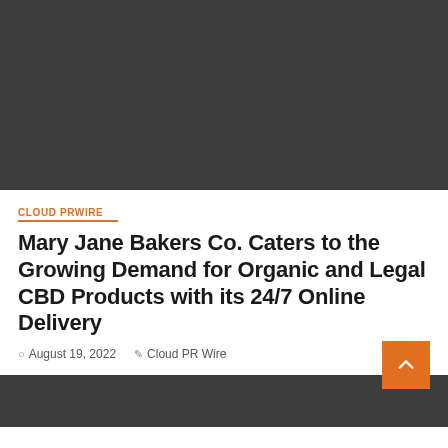[Figure (photo): Dark gray/charcoal placeholder image at the top of the article page]
CLOUD PRWIRE
Mary Jane Bakers Co. Caters to the Growing Demand for Organic and Legal CBD Products with its 24/7 Online Delivery
August 19, 2022   Cloud PR Wire
[Figure (photo): Dark gray/charcoal placeholder image at the bottom of the page (partially visible)]